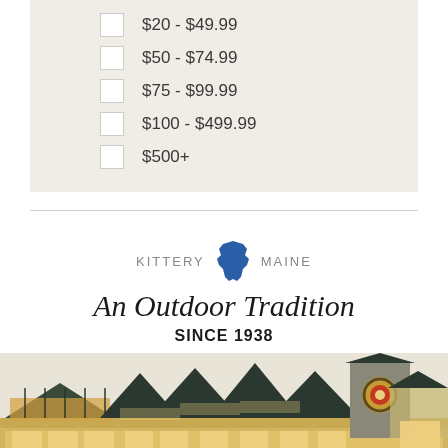$20 - $49.99
$50 - $74.99
$75 - $99.99
$100 - $499.99
$500+
[Figure (logo): Kittery Trading Post logo with Maine state silhouette in blue, script text 'An Outdoor Tradition' and 'SINCE 1938']
[Figure (photo): Exterior illustration of the Kittery Trading Post store building with multiple peaked roofs and illuminated windows]